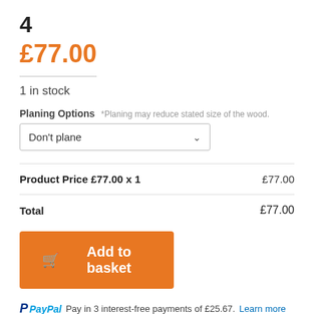4
£77.00
1 in stock
Planing Options *Planing may reduce stated size of the wood.
Don't plane
|  |  |
| --- | --- |
| Product Price £77.00 x 1 | £77.00 |
| Total | £77.00 |
Add to basket
PayPal Pay in 3 interest-free payments of £25.67. Learn more